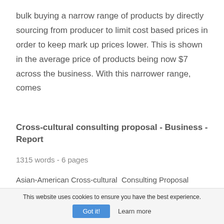bulk buying a narrow range of products by directly sourcing from producer to limit cost based prices in order to keep mark up prices lower. This is shown in the average price of products being now $7 across the business. With this narrower range, comes
Cross-cultural consulting proposal - Business - Report
1315 words - 6 pages
Asian-American Cross-cultural  Consulting Proposal
01 02 2019  —  Patricia Nguyen, Toronto, ON
This website uses cookies to ensure you have the best experience.